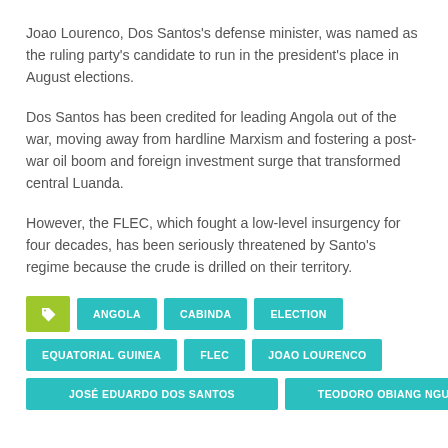Joao Lourenco, Dos Santos’s defense minister, was named as the ruling party’s candidate to run in the president’s place in August elections.
Dos Santos has been credited for leading Angola out of the war, moving away from hardline Marxism and fostering a post-war oil boom and foreign investment surge that transformed central Luanda.
However, the FLEC, which fought a low-level insurgency for four decades, has been seriously threatened by Santo’s regime because the crude is drilled on their territory.
ANGOLA
CABINDA
ELECTION
EQUATORIAL GUINEA
FLEC
JOAO LOURENCO
JOSÉ EDUARDO DOS SANTOS
TEODORO OBIANG NGUEMA